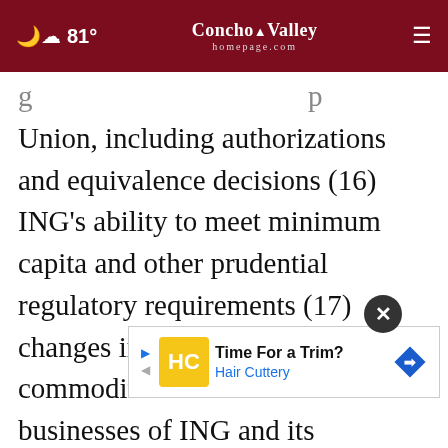81° Concho Valley homepage.com ☰
Union, including authorizations and equivalence decisions (16) ING's ability to meet minimum capital and other prudential regulatory requirements (17) changes in regulation of US commodities and derivatives businesses of ING and its customers (18) application of bank recovery and resolution regimes, including write down and conversion powers in relation to our securities (19) outcome of current and future litigation, enforcement proceedings, investigations and regulatory reviews, including claims by customers or stakeholders who feel misled
[Figure (screenshot): Advertisement overlay: Hair Cuttery 'Time For a Trim?' ad with yellow HC logo, close button (X circle), and a road sign icon on the right]